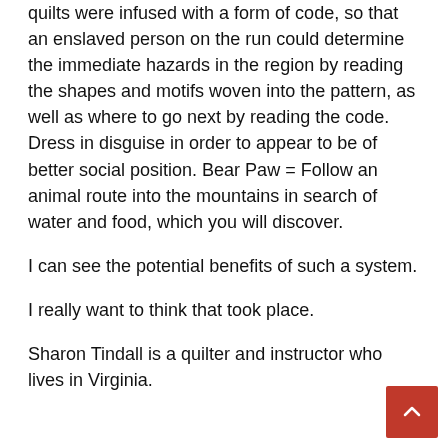quilts were infused with a form of code, so that an enslaved person on the run could determine the immediate hazards in the region by reading the shapes and motifs woven into the pattern, as well as where to go next by reading the code. Dress in disguise in order to appear to be of better social position. Bear Paw = Follow an animal route into the mountains in search of water and food, which you will discover.
I can see the potential benefits of such a system.
I really want to think that took place.
Sharon Tindall is a quilter and instructor who lives in Virginia.